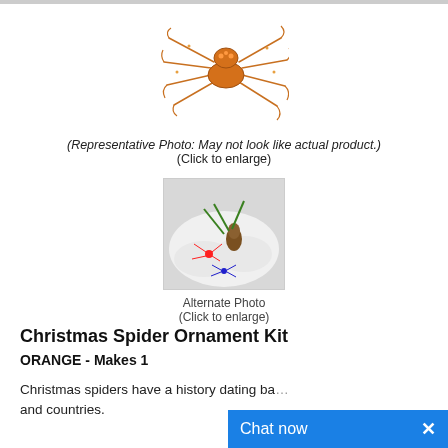[Figure (illustration): Orange beaded spider ornament with wire legs on white background]
(Representative Photo: May not look like actual product.)
(Click to enlarge)
[Figure (photo): Alternate photo showing multiple beaded spider ornaments on a white fluffy surface with pine cone and greenery]
Alternate Photo
(Click to enlarge)
Christmas Spider Ornament Kit
ORANGE - Makes 1
Christmas spiders have a history dating ba... and countries.